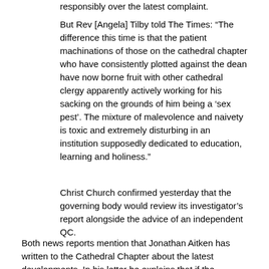responsibly over the latest complaint.
But Rev [Angela] Tilby told The Times: “The difference this time is that the patient machinations of those on the cathedral chapter who have consistently plotted against the dean have now borne fruit with other cathedral clergy apparently actively working for his sacking on the grounds of him being a ‘sex pest’. The mixture of malevolence and naivety is toxic and extremely disturbing in an institution supposedly dedicated to education, learning and holiness.”
Christ Church confirmed yesterday that the governing body would review its investigator's report alongside the advice of an independent QC.
Both news reports mention that Jonathan Aitken has written to the Cathedral Chapter about the latest developments. In his letter he explains that if the Chapter endorses the Governing Body's action (expected on Monday) to proceed with a new tribunal, he will seek a Judicial Review in the High Court. and outlines the legal and financial risks involved, both for the Chapter and its individual members. He also makes three suggestions for alternative courses of action by the Chapter.